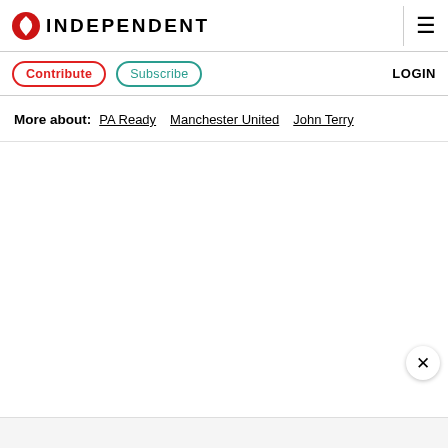INDEPENDENT
Contribute  Subscribe  LOGIN
More about:  PA Ready  Manchester United  John Terry